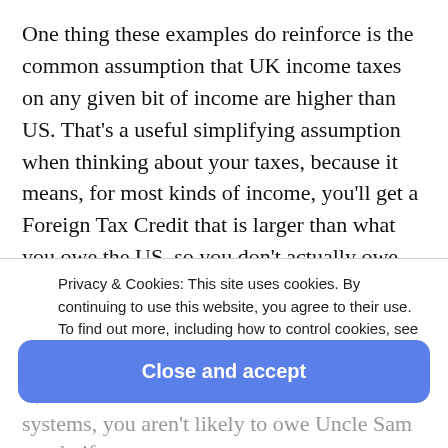One thing these examples do reinforce is the common assumption that UK income taxes on any given bit of income are higher than US. That's a useful simplifying assumption when thinking about your taxes, because it means, for most kinds of income, you'll get a Foreign Tax Credit that is larger than what you owe the US, so you don't actually owe anything.
That gets a little dicer for capital gains, dividends, and
Privacy & Cookies: This site uses cookies. By continuing to use this website, you agree to their use. To find out more, including how to control cookies, see here: Cookie Policy
Close and accept
systems, you aren't likely to owe Uncle Sam much, if